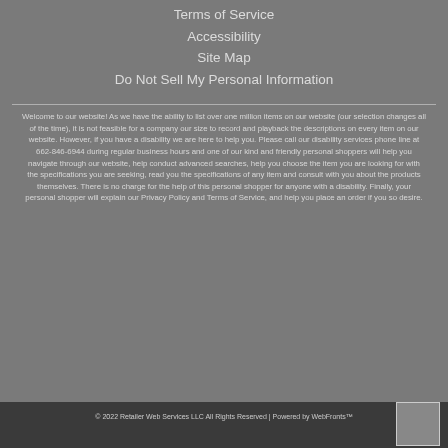Terms of Service
Accessibility
Site Map
Do Not Sell My Personal Information
Welcome to our website! As we have the ability to list over one million items on our website (our selection changes all of the time), it is not feasible for a company our size to record and playback the descriptions on every item on our website. However, if you have a disability we are here to help you. Please call our disability services phone line at 662-846-6944 during regular business hours and one of our kind and friendly personal shoppers will help you navigate through our website, help conduct advanced searches, help you choose the item you are looking for with the specifications you are seeking, read you the specifications of any item and consult with you about the products themselves. There is no charge for the help of this personal shopper for anyone with a disability. Finally, your personal shopper will explain our Privacy Policy and Terms of Service, and help you place an order if you so desire.
© 2022 Retailer Web Services LLC All Rights Reserved | Powered by WebFronts™